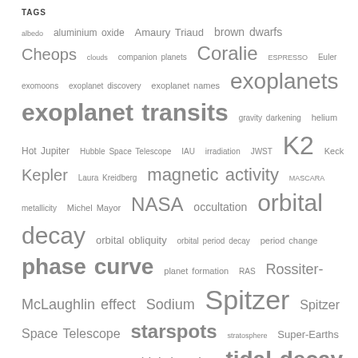TAGS
albedo aluminium oxide Amaury Triaud brown dwarfs Cheops clouds companion planets Coralie ESPRESSO Euler exomoons exoplanet discovery exoplanet names exoplanets exoplanet transits gravity darkening helium Hot Jupiter Hubble Space Telescope IAU irradiation JWST K2 Keck Kepler Laura Kreidberg magnetic activity MASCARA metallicity Michel Mayor NASA occultation orbital decay orbital obliquity orbital period decay period change phase curve planet formation RAS Rossiter-McLaughlin effect Sodium Spitzer Spitzer Space Telescope starspots stratosphere Super-Earths Telescopio Nazionale Galileo tidal damping tidal decay tidal interaction transit transit depth transits transit times transit timing transmission spectroscopy TRAPPIST TTVs Ultra-hot Jupiters Vivien Parmentier VLT WASP-4b WASP-6b WASP-8b WASP-10 WASP-10b WASP-12b WASP-17b WASP-18 WASP-18b WASP-19b WASP-22 WASP-31b